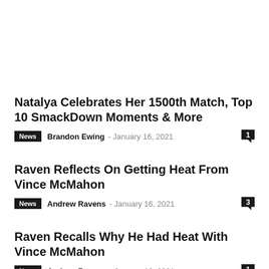Natalya Celebrates Her 1500th Match, Top 10 SmackDown Moments & More
News  Brandon Ewing  -  January 16, 2021  1
Raven Reflects On Getting Heat From Vince McMahon
News  Andrew Ravens  -  January 16, 2021  3
Raven Recalls Why He Had Heat With Vince McMahon
News  Andrew Ravens  -  January 10, 2021  1